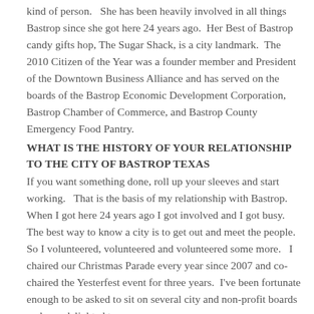kind of person.   She has been heavily involved in all things Bastrop since she got here 24 years ago.  Her Best of Bastrop candy gifts hop, The Sugar Shack, is a city landmark.  The 2010 Citizen of the Year was a founder member and President of the Downtown Business Alliance and has served on the boards of the Bastrop Economic Development Corporation, Bastrop Chamber of Commerce, and Bastrop County Emergency Food Pantry.
WHAT IS THE HISTORY OF YOUR RELATIONSHIP TO THE CITY OF BASTROP TEXAS
If you want something done, roll up your sleeves and start working.   That is the basis of my relationship with Bastrop.  When I got here 24 years ago I got involved and I got busy.   The best way to know a city is to get out and meet the people.  So I volunteered, volunteered and volunteered some more.   I chaired our Christmas Parade every year since 2007 and co-chaired the Yesterfest event for three years.  I've been fortunate enough to be asked to sit on several city and non-profit boards and was delighted to serve.
WHAT COMPELLED YOU TO SERVE AS A MEMBER OF THE BASTROP CITY COUNCIL?
We are growing fast.  I want a bigger Bastrop to be a better